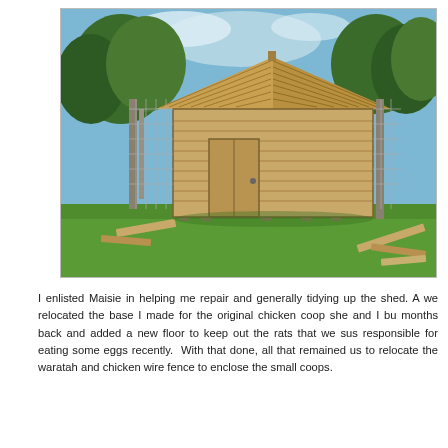[Figure (photo): A wooden garden shed/chicken coop with a peaked roof, horizontal timber cladding, and a small door, sitting on a green grassy slope. Trees and a fence are visible in the background. Some timber boards and debris are scattered around.]
I enlisted Maisie in helping me repair and generally tidying up the shed. A we relocated the base I made for the original chicken coop she and I bu months back and added a new floor to keep out the rats that we sus responsible for eating some eggs recently. With that done, all that remained us to relocate the waratah and chicken wire fence to enclose the small coops.